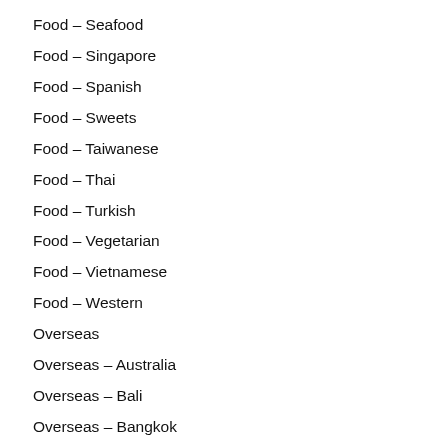Food – Seafood
Food – Singapore
Food – Spanish
Food – Sweets
Food – Taiwanese
Food – Thai
Food – Turkish
Food – Vegetarian
Food – Vietnamese
Food – Western
Overseas
Overseas – Australia
Overseas – Bali
Overseas – Bangkok
Overseas – Beijing 🇨🇳